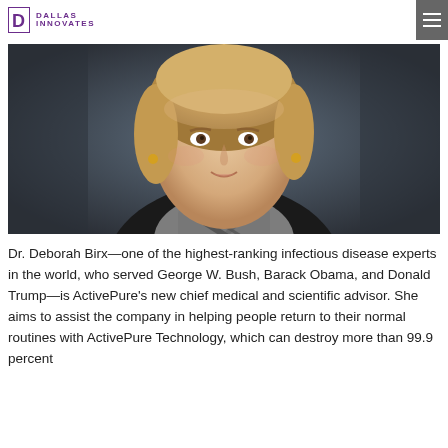Dallas Innovates
[Figure (photo): Portrait photo of Dr. Deborah Birx, a woman with blonde hair wearing a black top and a black-and-white plaid scarf, photographed against a dark teal-grey background.]
Dr. Deborah Birx—one of the highest-ranking infectious disease experts in the world, who served George W. Bush, Barack Obama, and Donald Trump—is ActivePure's new chief medical and scientific advisor. She aims to assist the company in helping people return to their normal routines with ActivePure Technology, which can destroy more than 99.9 percent